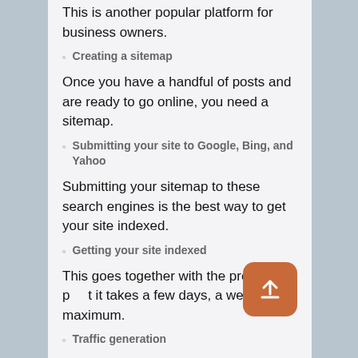This is another popular platform for business owners.
Creating a sitemap
Once you have a handful of posts and are ready to go online, you need a sitemap.
Submitting your site to Google, Bing, and Yahoo
Submitting your sitemap to these search engines is the best way to get your site indexed.
Getting your site indexed
This goes together with the previous point it takes a few days, a week maximum.
Traffic generation